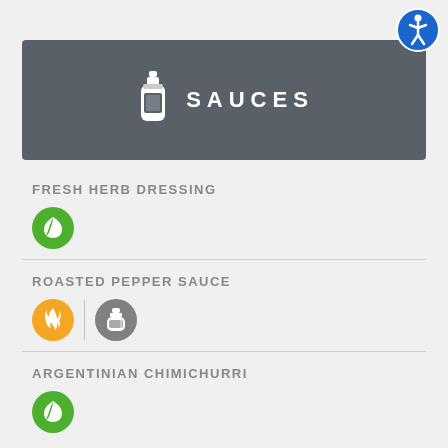[Figure (infographic): Blue circle accessibility icon (wheelchair person symbol) in top right corner]
SAUCES
FRESH HERB DRESSING — vegan icon (green leaf)
ROASTED PEPPER SAUCE — spicy icon (orange flame) and dairy icon (gray bottle)
ARGENTINIAN CHIMICHURRI — vegan icon (green leaf)